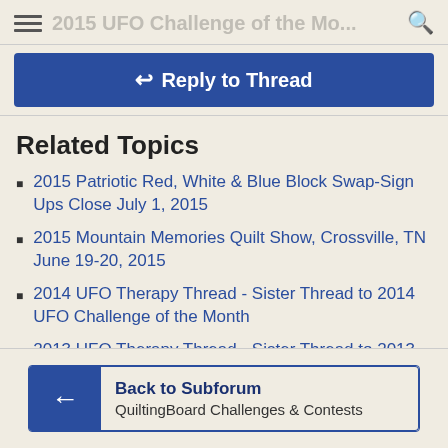2015 UFO Challenge of the Month
Reply to Thread
Related Topics
2015 Patriotic Red, White & Blue Block Swap-Sign Ups Close July 1, 2015
2015 Mountain Memories Quilt Show, Crossville, TN June 19-20, 2015
2014 UFO Therapy Thread - Sister Thread to 2014 UFO Challenge of the Month
2013 UFO Therapy Thread - Sister Thread to 2013 UFO Challenge of the Month
Back to Subforum
QuiltingBoard Challenges & Contests